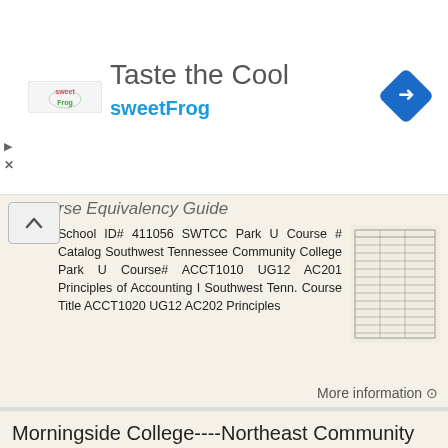[Figure (other): sweetFrog advertisement banner with logo, 'Taste the Cool' heading, 'sweetFrog' text in teal, and a blue navigation diamond icon]
rse Equivalency Guide School ID# 411056 SWTCC Park U Course # Catalog Southwest Tennessee Community College Park U Course# ACCT1010 UG12 AC201 Principles of Accounting I Southwest Tenn. Course Title ACCT1020 UG12 AC202 Principles
More information ⊙
Morningside College----Northeast Community College 2014-2015 Transfer Guide
Morningside College----Northeast Community College 2014-2015 Transfer Guide The transfer guide is designed to help Northeast Community Colleges students